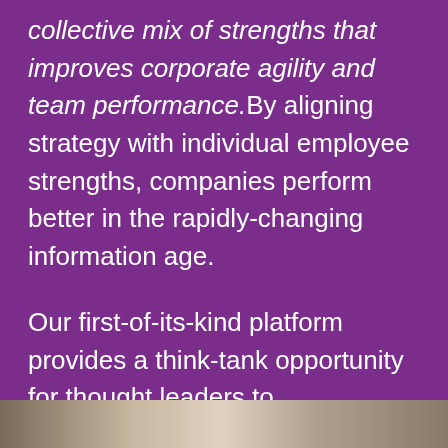collective mix of strengths that improves corporate agility and team performance.By aligning strategy with individual employee strengths, companies perform better in the rapidly-changing information age.
Our first-of-its-kind platform provides a think-tank opportunity for thought leaders to simultaneously learn and shape industry tools. Join select executives in Nashville on April 25-26 as experts share next-generation methods for success.
[Figure (photo): A partial photo strip at the bottom of the page showing people, likely in a business or conference setting, cropped to show only the top portion.]